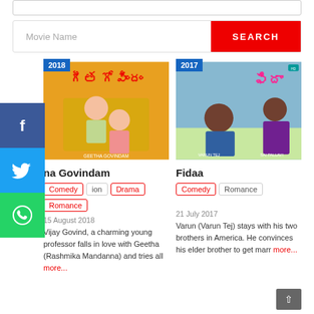[Figure (screenshot): Top navigation bar (partially visible)]
[Figure (screenshot): Search bar with 'Movie Name' placeholder and red SEARCH button]
[Figure (illustration): Social media sidebar with Facebook, Twitter, WhatsApp icons on left edge]
[Figure (photo): Geetha Govindam movie poster, year badge 2018]
na Govindam
Comedy
ion
Drama
Romance
15 August 2018
Vijay Govind, a charming young professor falls in love with Geetha (Rashmika Mandanna) and tries all more...
[Figure (photo): Fidaa movie poster, year badge 2017]
Fidaa
Comedy
Romance
21 July 2017
Varun (Varun Tej) stays with his two brothers in America. He convinces his elder brother to get marr more...